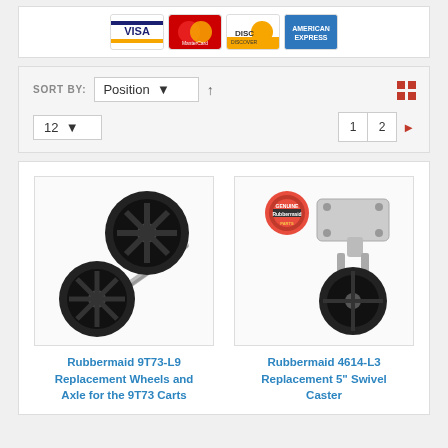[Figure (other): Payment card logos: Visa, MasterCard, Discover, American Express]
SORT BY: Position ▼ ↑
12 ▼   1  2  ▶
[Figure (photo): Rubbermaid 9T73-L9 Replacement Wheels and Axle product image showing two black wheels and a metal axle rod]
[Figure (photo): Rubbermaid 4614-L3 Replacement 5 inch Swivel Caster product image with Genuine Parts badge]
Rubbermaid 9T73-L9 Replacement Wheels and Axle for the 9T73 Carts
Rubbermaid 4614-L3 Replacement 5" Swivel Caster